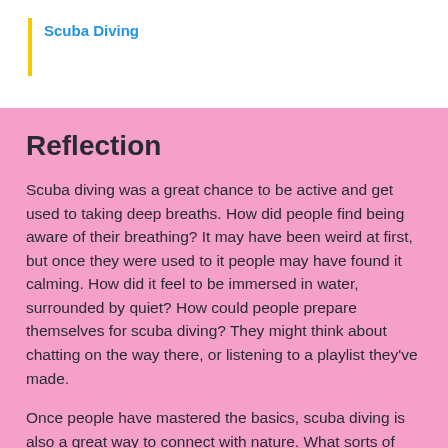Scuba Diving
Reflection
Scuba diving was a great chance to be active and get used to taking deep breaths. How did people find being aware of their breathing? It may have been weird at first, but once they were used to it people may have found it calming. How did it feel to be immersed in water, surrounded by quiet? How could people prepare themselves for scuba diving? They might think about chatting on the way there, or listening to a playlist they've made.
Once people have mastered the basics, scuba diving is also a great way to connect with nature. What sorts of wildlife would people like to see underwater? How can people respect the outdoors